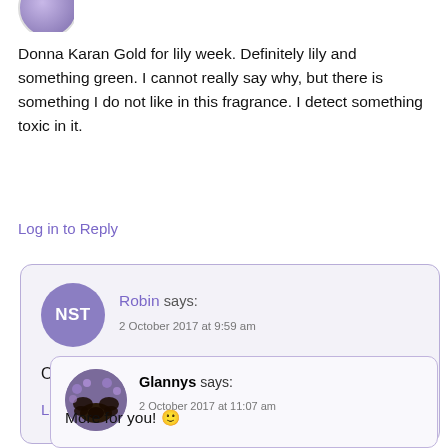[Figure (photo): Circular avatar image with purple flowers, partially cropped at top]
Donna Karan Gold for lily week. Definitely lily and something green. I cannot really say why, but there is something I do not like in this fragrance. I detect something toxic in it.
Log in to Reply
Robin says:
2 October 2017 at 9:59 am
Oh, so sorry! I like Gold.
Log in to Reply
Glannys says:
2 October 2017 at 11:07 am
More for you! 🙂